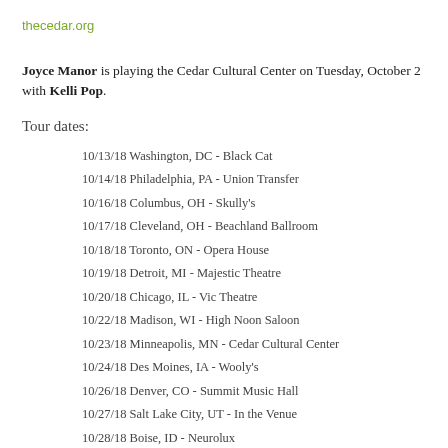thecedar.org
Joyce Manor is playing the Cedar Cultural Center on Tuesday, October 2 with Kelli Pop.
Tour dates:
10/13/18 Washington, DC - Black Cat
10/14/18 Philadelphia, PA - Union Transfer
10/16/18 Columbus, OH - Skully's
10/17/18 Cleveland, OH - Beachland Ballroom
10/18/18 Toronto, ON - Opera House
10/19/18 Detroit, MI - Majestic Theatre
10/20/18 Chicago, IL - Vic Theatre
10/22/18 Madison, WI - High Noon Saloon
10/23/18 Minneapolis, MN - Cedar Cultural Center
10/24/18 Des Moines, IA - Wooly's
10/26/18 Denver, CO - Summit Music Hall
10/27/18 Salt Lake City, UT - In the Venue
10/28/18 Boise, ID - Neurolux
10/30/18 Vancouver, BC - Biltmore Cabaret